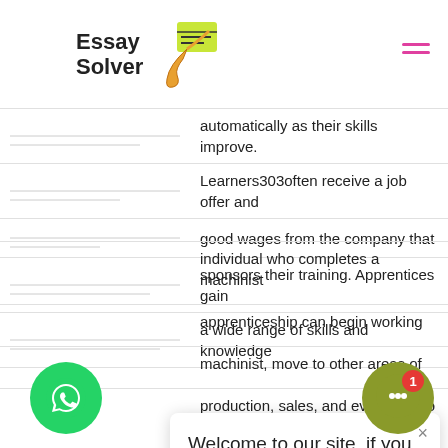Essay Solver
automatically as their skills improve.
Learners303often receive a job offer and good wages from the company that sponsors their training. Apprentices gain a wide range of skills and knowledge
[Figure (screenshot): Chat popup widget: 'Welcome to our site, if you need help simply reply to this message, we are online and ready to help.' from Customer Support, just now]
individual who completes a machinist apprenticeship can begin working machinist, move to other areas of production, sales, and eventually to